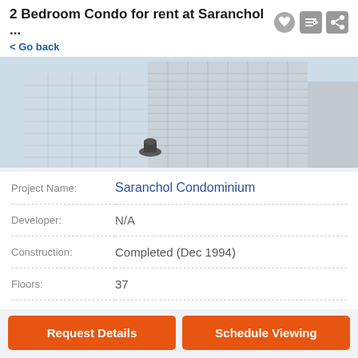2 Bedroom Condo for rent at Saranchol ...
< Go back
[Figure (photo): Exterior photo of Saranchol Condominium high-rise building with light blue sky background]
| Field | Value |
| --- | --- |
| Project Name: | Saranchol Condominium |
| Developer: | N/A |
| Construction: | Completed (Dec 1994) |
| Floors: | 37 |
| Buildings: | N/A |
Request Details
Schedule Viewing